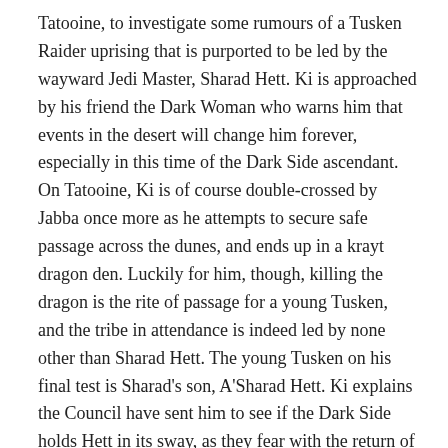Tatooine, to investigate some rumours of a Tusken Raider uprising that is purported to be led by the wayward Jedi Master, Sharad Hett. Ki is approached by his friend the Dark Woman who warns him that events in the desert will change him forever, especially in this time of the Dark Side ascendant. On Tatooine, Ki is of course double-crossed by Jabba once more as he attempts to secure safe passage across the dunes, and ends up in a krayt dragon den. Luckily for him, though, killing the dragon is the rite of passage for a young Tusken, and the tribe in attendance is indeed led by none other than Sharad Hett. The young Tusken on his final test is Sharad's son, A'Sharad Hett. Ki explains the Council have sent him to see if the Dark Side holds Hett in its sway, as they fear with the return of the Sith, he could be involved. It is clear, however,